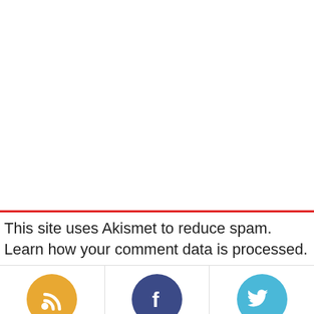This site uses Akismet to reduce spam. Learn how your comment data is processed.
[Figure (infographic): Three social media icons in circles with follower/subscriber counts: RSS (yellow circle, 653), Facebook (dark blue circle, 1,009), Twitter (light blue circle, 4,381)]